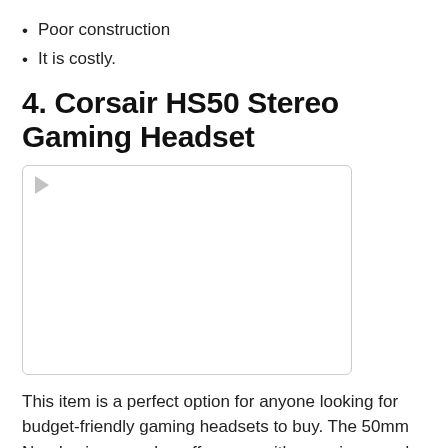Poor construction
It is costly.
4. Corsair HS50 Stereo Gaming Headset
[Figure (photo): Image placeholder for Corsair HS50 Stereo Gaming Headset with a play icon in top-left corner]
This item is a perfect option for anyone looking for budget-friendly gaming headsets to buy. The 50mm Neodymium speaker offers you with superior sound quality along with a wide